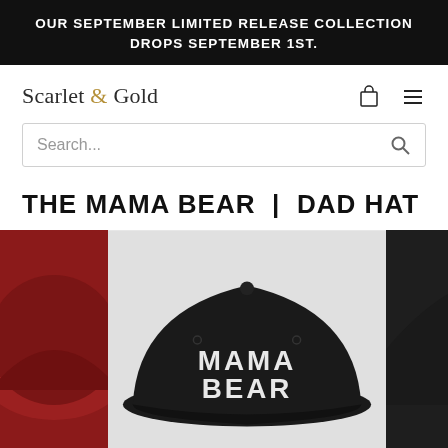OUR SEPTEMBER LIMITED RELEASE COLLECTION DROPS SEPTEMBER 1ST.
Scarlet & Gold
Search...
THE MAMA BEAR | DAD HAT
[Figure (photo): A black dad hat with white embroidered text reading MAMA BEAR on the front panel, shown in a product photo carousel with partial views of other colorway hats on either side.]